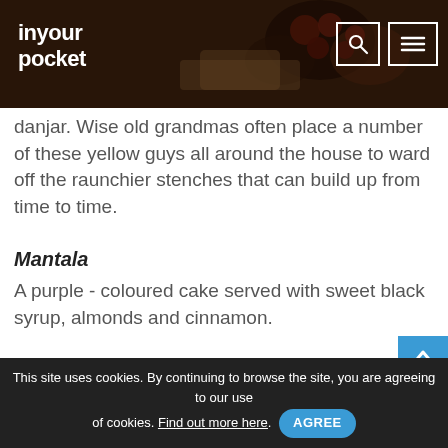inyour pocket
[Figure (photo): Dark food/drink photo background in page header]
danjar. Wise old grandmas often place a number of these yellow guys all around the house to ward off the raunchier stenches that can build up from time to time.
Mantala
A purple - coloured cake served with sweet black syrup, almonds and cinnamon.
This site uses cookies. By continuing to browse the site, you are agreeing to our use of cookies. Find out more here. AGREE